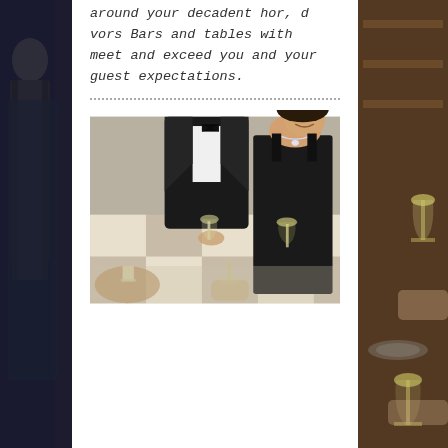around your decadent hor, d vors Bars and tables with meet and exceed you and your guest expectations.
[Figure (photo): Elegantly dressed people at a formal event holding champagne glasses, viewed from above/slightly elevated angle. A woman in a black dress with a diamond necklace holds a champagne flute and smiles. A man in a tuxedo stands nearby. Background shows a checkered floor pattern.]
[Figure (photo): Left side strip: dark photo of a person in a suit, partially visible, dark blue/navy tones.]
[Figure (photo): Right side strip: photo of wine glasses with white wine being held up, warm brown tones, restaurant setting with shelving in background.]